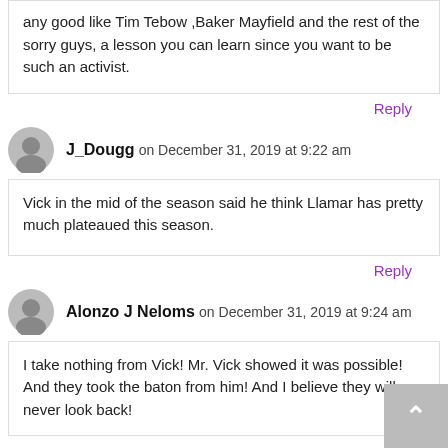any good like Tim Tebow ,Baker Mayfield and the rest of the sorry guys, a lesson you can learn since you want to be such an activist.
Reply
J_Dougg on December 31, 2019 at 9:22 am
Vick in the mid of the season said he think Llamar has pretty much plateaued this season.
Reply
Alonzo J Neloms on December 31, 2019 at 9:24 am
I take nothing from Vick! Mr. Vick showed it was possible! And they took the baton from him! And I believe they will never look back!